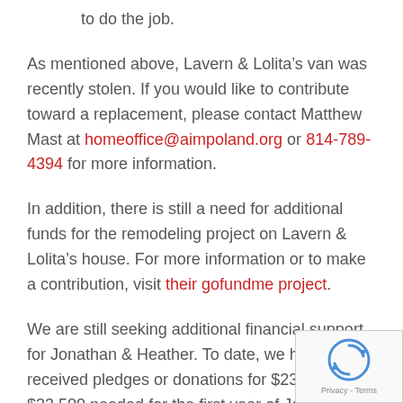to do the job.
As mentioned above, Lavern & Lolita's van was recently stolen. If you would like to contribute toward a replacement, please contact Matthew Mast at homeoffice@aimpoland.org or 814-789-4394 for more information.
In addition, there is still a need for additional funds for the remodeling project on Lavern & Lolita's house. For more information or to make a contribution, visit their gofundme project.
We are still seeking additional financial support for Jonathan & Heather. To date, we have received pledges or donations for $23,000 of the $33,500 needed for the first year of Jonathan & Heather's time in Poland. To discuss the possibility of pledging ongoing support,